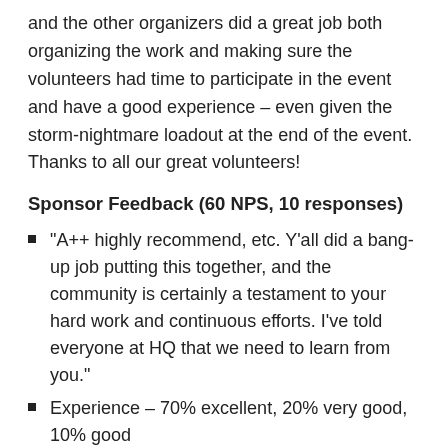and the other organizers did a great job both organizing the work and making sure the volunteers had time to participate in the event and have a good experience – even given the storm-nightmare loadout at the end of the event. Thanks to all our great volunteers!
Sponsor Feedback (60 NPS, 10 responses)
“A++ highly recommend, etc. Y’all did a bang-up job putting this together, and the community is certainly a testament to your hard work and continuous efforts. I’ve told everyone at HQ that we need to learn from you.”
Experience – 70% excellent, 20% very good, 10% good
Liked: “Always a great event – excellent sessions, great opportunities to meet with customers and